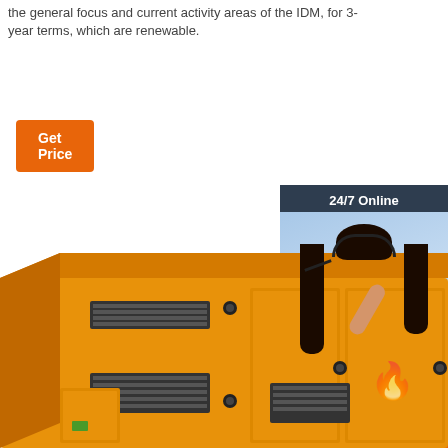the general focus and current activity areas of the IDM, for 3-year terms, which are renewable.
[Figure (other): Orange 'Get Price' button]
[Figure (other): Customer service chat widget with '24/7 Online' header, female agent with headset photo, 'Click here for free chat !' text, and orange 'QUOTATION' button]
[Figure (photo): Orange industrial diesel generator enclosure unit, large rectangular yellow/orange canopy cabinet with ventilation grilles and access doors]